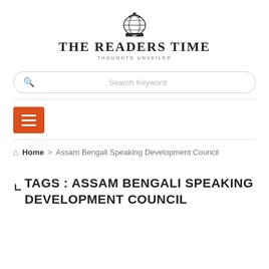[Figure (logo): The Readers Time logo with emblem globe and banner, text 'THE READERS TIME' and tagline 'THOUGHTS UNVEILED']
Search Keyword
[Figure (other): Orange hamburger menu icon button]
Home > Assam Bengali Speaking Development Council
TAGS : ASSAM BENGALI SPEAKING DEVELOPMENT COUNCIL